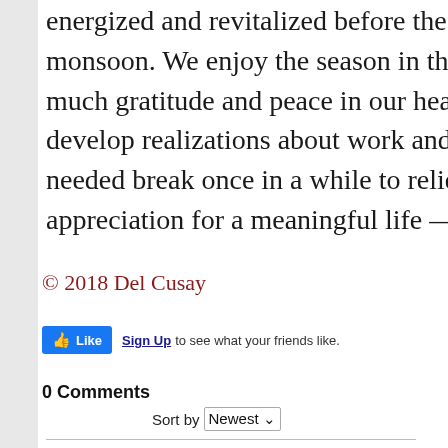energized and revitalized before the onset of monsoon. We enjoy the season in the sun and much gratitude and peace in our heart and mind, develop realizations about work and life balance, needed break once in a while to relieve stress, and appreciation for a meaningful life — a life w…
© 2018 Del Cusay
[Figure (screenshot): Facebook Like button with Sign Up text: 'Sign Up to see what your friends like.']
0 Comments
Sort by Newest